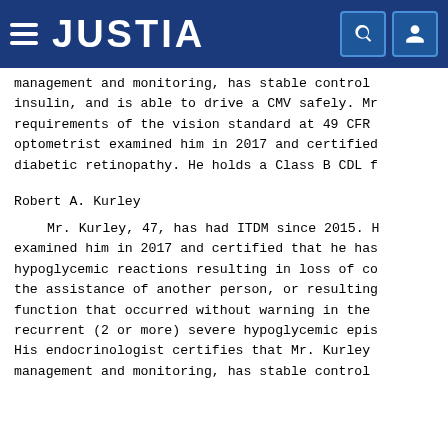JUSTIA
management and monitoring, has stable control insulin, and is able to drive a CMV safely. Mr requirements of the vision standard at 49 CFR optometrist examined him in 2017 and certified diabetic retinopathy. He holds a Class B CDL f
Robert A. Kurley
Mr. Kurley, 47, has had ITDM since 2015. H examined him in 2017 and certified that he has hypoglycemic reactions resulting in loss of co the assistance of another person, or resulting function that occurred without warning in the recurrent (2 or more) severe hypoglycemic epis His endocrinologist certifies that Mr. Kurley management and monitoring, has stable control